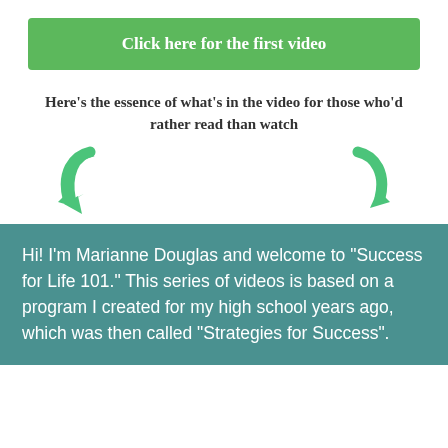[Figure (other): Green button with white bold text: Click here for the first video]
Here's the essence of what's in the video for those who'd rather read than watch
[Figure (illustration): Two green downward-pointing arrows, one on the left and one on the right]
Hi! I’m Marianne Douglas and welcome to “Success for Life 101.” This series of videos is based on a program I created for my high school years ago, which was then called “Strategies for Success”.